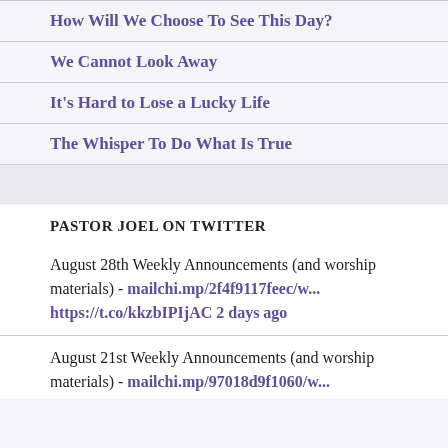How Will We Choose To See This Day?
We Cannot Look Away
It's Hard to Lose a Lucky Life
The Whisper To Do What Is True
PASTOR JOEL ON TWITTER
August 28th Weekly Announcements (and worship materials) - mailchi.mp/2f4f9117feec/w... https://t.co/kkzbIPIjAC 2 days ago
August 21st Weekly Announcements (and worship materials) - mailchi.mp/97018d9f1060/w...